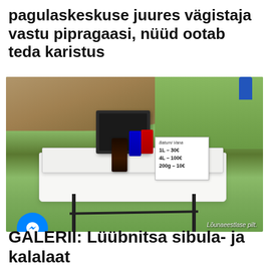pagulaskeskuse juures vägistaja vastu pipragaasi, nüüd ootab teda karistus
[Figure (photo): A small folding table covered with a white tablecloth set on grass, with a laptop or tablet, ink bottles (dark, blue, red), and a handwritten price sign. A person's legs are visible in the upper right. Caption reads 'Lõunaeestlase pilt.']
Lõunaeestlase pilt.
GALERII: Lüübnitsa sibula- ja kalalaat